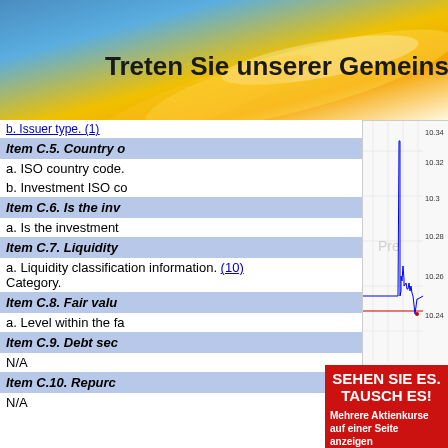[Figure (illustration): Top banner with blue and gold gradient background and German text: 'Treten Sie unserer Gemeinschaft']
b. Issuer type. (1)
[Figure (line-chart): Stock price chart from ADVFN showing price range approx 10.24-10.34, x-axis from 1100 to 2100. Blue line with spike around 1600, red horizontal line around 10.26. Source: (c) www.advfn.com]
Item C.5. Country o
a. ISO country code.
b. Investment ISO co
Item C.6. Is the inv
a. Is the investment
Item C.7. Liquidity
a. Liquidity classification information. (10) Category.
Item C.8. Fair valu
a. Level within the fa
Item C.9. Debt sec
N/A
Item C.10. Repurc
N/A
[Figure (illustration): Red advertisement banner with German text: 'SEHEN SIE ES. TAUSCH ES! Mehrere Aktienkurse auf einer Seite anzeigen. Leicht anpassbare']